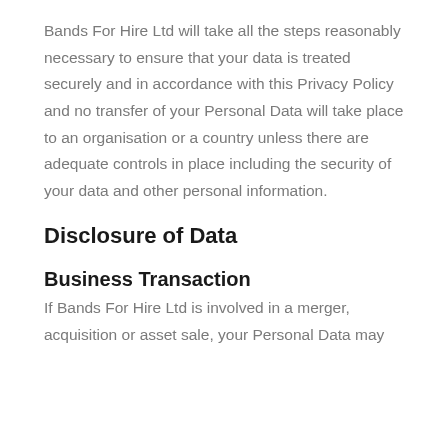Bands For Hire Ltd will take all the steps reasonably necessary to ensure that your data is treated securely and in accordance with this Privacy Policy and no transfer of your Personal Data will take place to an organisation or a country unless there are adequate controls in place including the security of your data and other personal information.
Disclosure of Data
Business Transaction
If Bands For Hire Ltd is involved in a merger, acquisition or asset sale, your Personal Data may